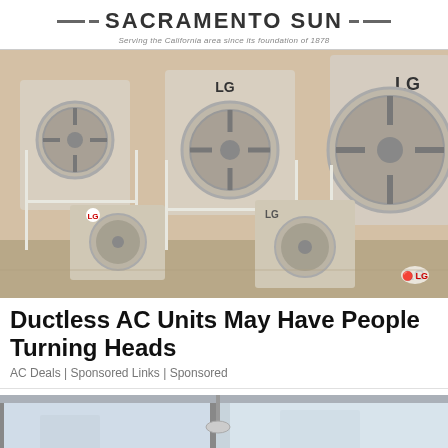SACRAMENTO SUN — Serving the California area since its foundation of 1878
[Figure (photo): Multiple LG brand ductless mini-split air conditioning outdoor condenser units mounted on white metal frames in an indoor utility room]
Ductless AC Units May Have People Turning Heads
AC Deals | Sponsored Links | Sponsored
[Figure (photo): Interior room with large floor-to-ceiling glass windows showing a bright sky outside, partial view of a hanging light fixture]